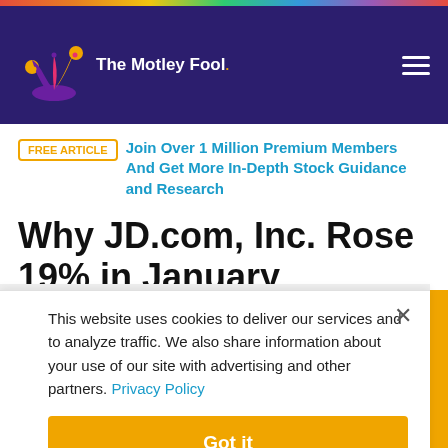The Motley Fool
FREE ARTICLE  Join Over 1 Million Premium Members And Get More In-Depth Stock Guidance and Research
Why JD.com, Inc. Rose 19% in January
This website uses cookies to deliver our services and to analyze traffic. We also share information about your use of our site with advertising and other partners. Privacy Policy
Got it
Cookie Settings